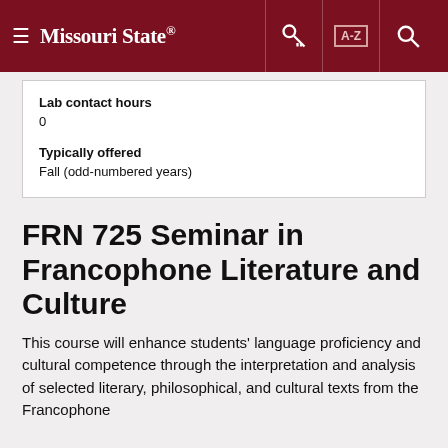Missouri State
Lab contact hours
0
Typically offered
Fall (odd-numbered years)
FRN 725 Seminar in Francophone Literature and Culture
This course will enhance students' language proficiency and cultural competence through the interpretation and analysis of selected literary, philosophical, and cultural texts from the Francophone